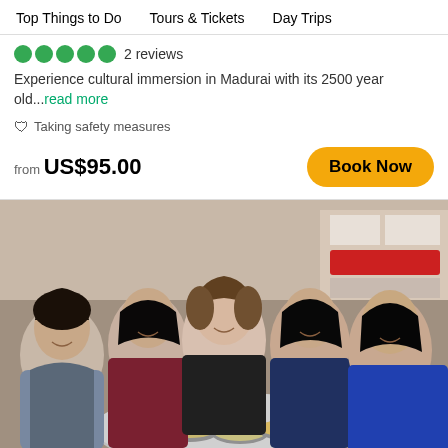Top Things to Do   Tours & Tickets   Day Trips
2 reviews
Experience cultural immersion in Madurai with its 2500 year old...read more
Taking safety measures
from US$95.00
Book Now
[Figure (photo): Five women smiling around a round metal table with food bowls, inside a restaurant in Madurai, India.]